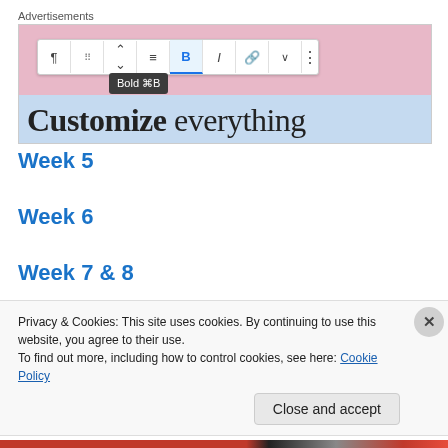[Figure (screenshot): Screenshot of a website editor showing a toolbar with Bold, Italic, and other formatting buttons, a tooltip reading 'Bold ⌘B', and partial text 'Customize everything' on a pink background]
Week 5
Week 6
Week 7 & 8
Privacy & Cookies: This site uses cookies. By continuing to use this website, you agree to their use.
To find out more, including how to control cookies, see here: Cookie Policy